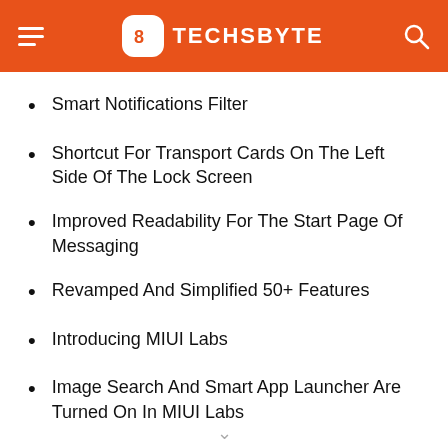TECHSBYTE
Smart Notifications Filter
Shortcut For Transport Cards On The Left Side Of The Lock Screen
Improved Readability For The Start Page Of Messaging
Revamped And Simplified 50+ Features
Introducing MIUI Labs
Image Search And Smart App Launcher Are Turned On In MIUI Labs
Turn The Filter For Notifications On And Off In The Settings